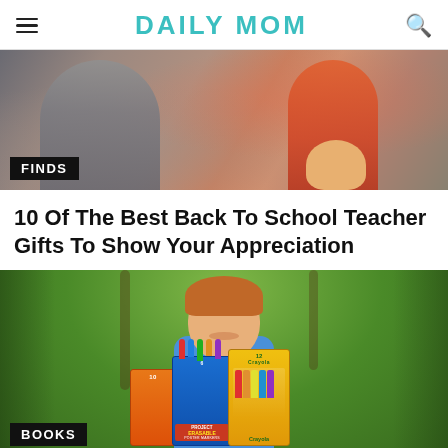DAILY MOM
[Figure (photo): Partial photo of adult and child at a table, with FINDS label overlay]
10 Of The Best Back To School Teacher Gifts To Show Your Appreciation
[Figure (photo): Smiling red-haired boy in blue shirt holding Crayola school supplies including markers and crayons, outdoors on green grass, with BOOKS label overlay]